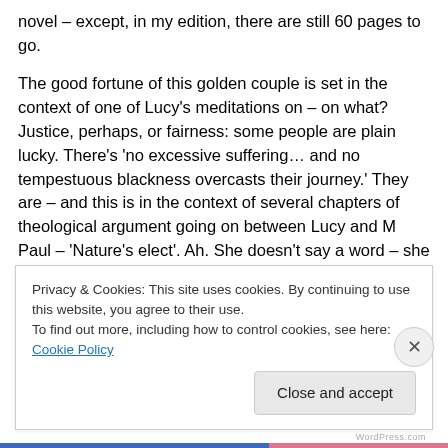novel – except, in my edition, there are still 60 pages to go.
The good fortune of this golden couple is set in the context of one of Lucy's meditations on – on what? Justice, perhaps, or fairness: some people are plain lucky. There's 'no excessive suffering… and no tempestuous blackness overcasts their journey.' They are – and this is in the context of several chapters of theological argument going on between Lucy and M Paul – 'Nature's elect'. Ah. She doesn't say a word – she doesn't have to – but she knows
Privacy & Cookies: This site uses cookies. By continuing to use this website, you agree to their use.
To find out more, including how to control cookies, see here: Cookie Policy